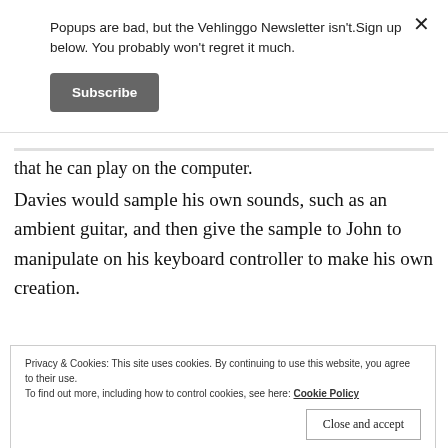Popups are bad, but the Vehlinggo Newsletter isn't.Sign up below. You probably won't regret it much.
Subscribe
that he can play on the computer.
Davies would sample his own sounds, such as an ambient guitar, and then give the sample to John to manipulate on his keyboard controller to make his own creation.
Privacy & Cookies: This site uses cookies. By continuing to use this website, you agree to their use.
To find out more, including how to control cookies, see here: Cookie Policy
Close and accept
make it come alive, he said.